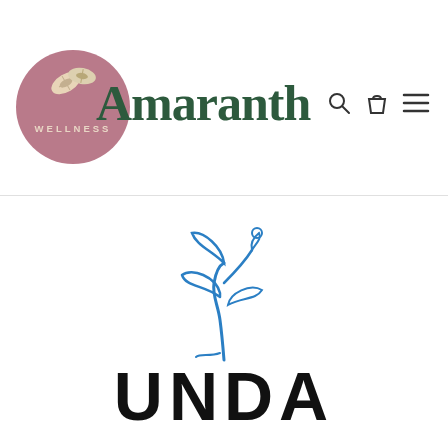[Figure (logo): Amaranth Wellness logo: circular mauve/pink badge with illustrated seeds, dark green serif 'Amaranth' text, and beige 'WELLNESS' text inside circle. Navigation icons (search, cart, hamburger menu) to the right.]
[Figure (logo): UNDA brand logo: blue abstract line-art figure of a stylized human/plant form above bold black uppercase 'UNDA' text.]